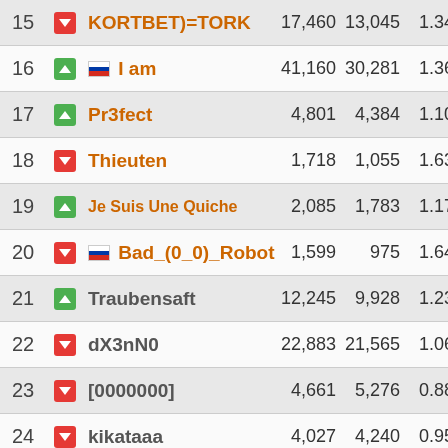| # |  | Name | Kills | Deaths | K/D | Damage |  |
| --- | --- | --- | --- | --- | --- | --- | --- |
| 15 | ↓ | KORTBET)=TORK | 17,460 | 13,045 | 1.34 | 6,133 |  |
| 16 | ↑ | I am | 41,160 | 30,281 | 1.36 | 15,938 | 3 |
| 17 | ↑ | Pr3fect | 4,801 | 4,384 | 1.10 | 3,084 | 6 |
| 18 | ↓ | Thieuten | 1,718 | 1,055 | 1.63 | 1,120 | 6 |
| 19 | ↑ | Je Suis Une Quiche | 2,085 | 1,783 | 1.17 | 1,850 | 8 |
| 20 | ↓ | Bad_(0_0)_Robot | 1,599 | 975 | 1.64 | 1,109 | 6 |
| 21 | ↑ | Traubensaft | 12,245 | 9,928 | 1.23 | 12,148 | 9 |
| 22 | ↓ | dX3nN0 | 22,883 | 21,565 | 1.06 | 9,718 | 4 |
| 23 | ↓ | [0000000] | 4,661 | 5,276 | 0.88 | 2,441 | 5 |
| 24 | ↓ | kikataaa | 4,027 | 4,240 | 0.95 | 2,451 | 6 |
| 25 | ↑ | MuallaxTR | 9,044 | 8,829 | 1.02 | 9,084 | 10 |
| 26 | ↑ | ☆Rαngσ | 1,105 | 677 | 1.63 | 822 | 7 |